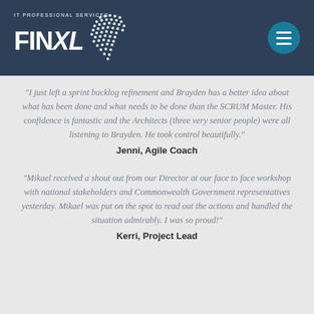[Figure (logo): FinXL IT Professional Services logo with white text and dot-pattern globe on dark navy background, with teal hamburger menu button top right]
“I just left a sprint backlog refinement and Brayden has a better idea about what has been done and what needs to be done than the SCRUM Master. His confidence is fantastic and the Architects (three very senior people) were all listening to Brayden. He took control beautifully.”
Jenni, Agile Coach
“Mikael received a shout out from our Director at our face to face workshop with national stakeholders and Commonwealth Government representatives yesterday. Mikael was put on the spot to read out the actions and handled the situation admirably. I was so proud!”
Kerri, Project Lead